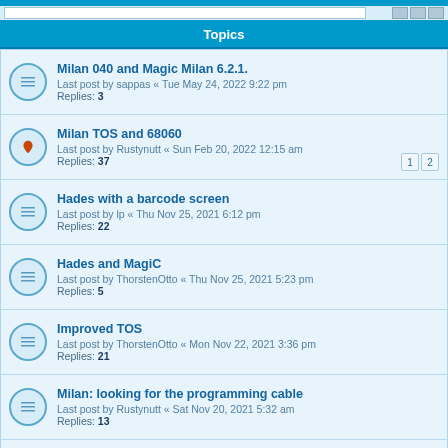Topics
Milan 040 and Magic Milan 6.2.1. | Last post by sappas « Tue May 24, 2022 9:22 pm | Replies: 3
Milan TOS and 68060 | Last post by Rustynutt « Sun Feb 20, 2022 12:15 am | Replies: 37
Hades with a barcode screen | Last post by lp « Thu Nov 25, 2021 6:12 pm | Replies: 22
Hades and MagiC | Last post by ThorstenOtto « Thu Nov 25, 2021 5:23 pm | Replies: 5
Improved TOS | Last post by ThorstenOtto « Mon Nov 22, 2021 3:36 pm | Replies: 21
Milan: looking for the programming cable | Last post by Rustynutt « Sat Nov 20, 2021 5:32 am | Replies: 13
New Machine At HOME :-) | Last post by Kroll « Sun Nov 14, 2021 10:37 pm | Replies: 7
pci slots | Last post by PeterS « Tue Nov 09, 2021 5:09 pm